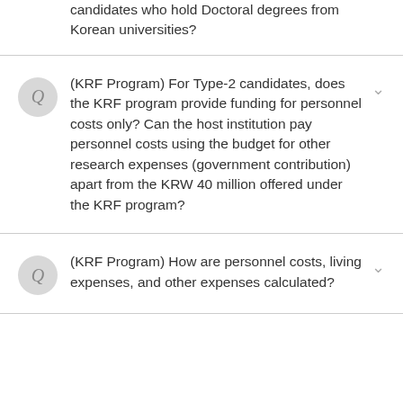candidates who hold Doctoral degrees from Korean universities?
(KRF Program) For Type-2 candidates, does the KRF program provide funding for personnel costs only? Can the host institution pay personnel costs using the budget for other research expenses (government contribution) apart from the KRW 40 million offered under the KRF program?
(KRF Program) How are personnel costs, living expenses, and other expenses calculated?